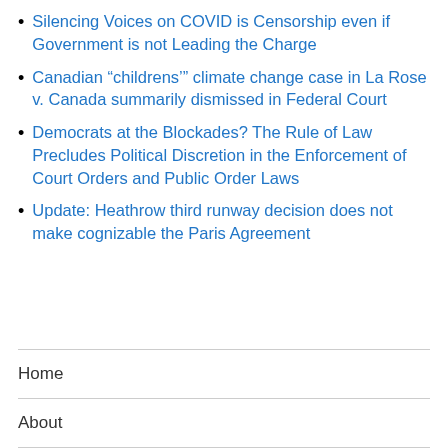Silencing Voices on COVID is Censorship even if Government is not Leading the Charge
Canadian “childrens’” climate change case in La Rose v. Canada summarily dismissed in Federal Court
Democrats at the Blockades? The Rule of Law Precludes Political Discretion in the Enforcement of Court Orders and Public Order Laws
Update: Heathrow third runway decision does not make cognizable the Paris Agreement
Home
About